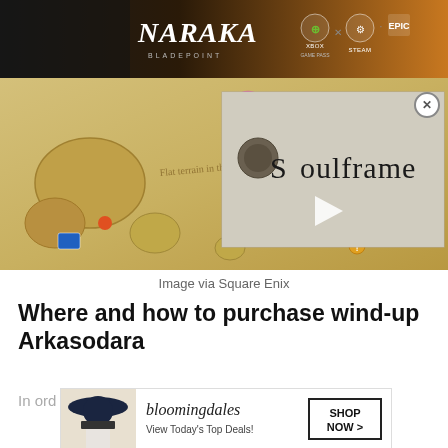[Figure (screenshot): Naraka Bladepoint advertisement banner with logo, Xbox Game Pass, Steam, and Epic Games icons]
[Figure (screenshot): Soulframe game video overlay on a fantasy map screenshot from Square Enix game, showing map with icons and a Soulframe video thumbnail with play button]
Image via Square Enix
Where and how to purchase wind-up Arkasodara
In ord
[Figure (screenshot): Bloomingdale's advertisement: bloomingdales logo, View Today's Top Deals!, woman in hat, SHOP NOW > button]